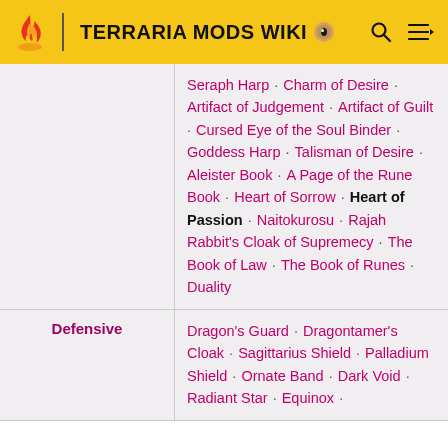TERRARIA MODS WIKI
| Category | Items |
| --- | --- |
| (continuation) | Seraph Harp · Charm of Desire · Artifact of Judgement · Artifact of Guilt · Cursed Eye of the Soul Binder · Goddess Harp · Talisman of Desire · Aleister Book · A Page of the Rune Book · Heart of Sorrow · Heart of Passion · Naitokurosu · Rajah Rabbit's Cloak of Supremecy · The Book of Law · The Book of Runes · Duality |
| Defensive | Dragon's Guard · Dragontamer's Cloak · Sagittarius Shield · Palladium Shield · Ornate Band · Dark Void · Radiant Star · Equinox · |